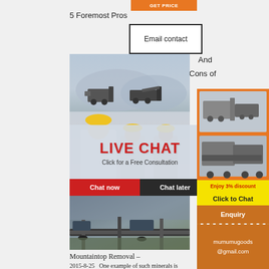5 Foremost Pros
Email contact
And
Cons of
[Figure (photo): Industrial mining machinery on grey landscape]
[Figure (photo): Workers in yellow hard hats smiling, with live chat overlay saying LIVE CHAT and Click for a Free Consultation, Chat now and Chat later buttons]
[Figure (photo): Aerial view of industrial conveyor belt mining operation]
Mountaintop Removal –
2015-8-25   One example of such minerals is selenium which, in high concentrations, has toxic effects to both
[Figure (photo): Orange sidebar with crusher machinery photos, Enjoy 3% discount Click to Chat bar, Enquiry button, and mumumugoods@gmail.com contact]
Enjoy 3% discount
Click to Chat
Enquiry
mumumugoods
@gmail.com